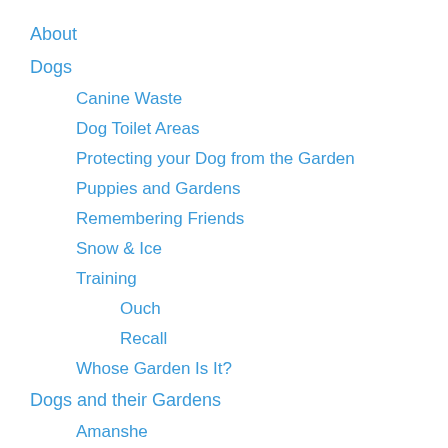About
Dogs
Canine Waste
Dog Toilet Areas
Protecting your Dog from the Garden
Puppies and Gardens
Remembering Friends
Snow & Ice
Training
Ouch
Recall
Whose Garden Is It?
Dogs and their Gardens
Amanshe
Gratz Garden
Gardening
A Rose By Any Other Name
Fencing
Mulches